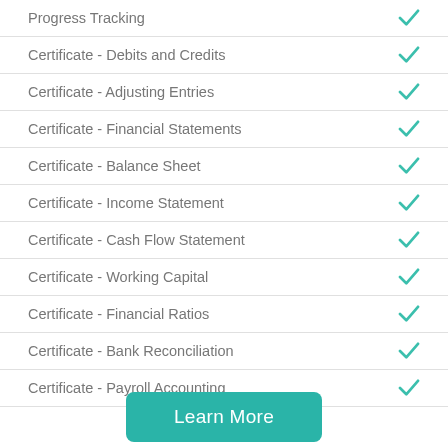Progress Tracking
Certificate - Debits and Credits
Certificate - Adjusting Entries
Certificate - Financial Statements
Certificate - Balance Sheet
Certificate - Income Statement
Certificate - Cash Flow Statement
Certificate - Working Capital
Certificate - Financial Ratios
Certificate - Bank Reconciliation
Certificate - Payroll Accounting
Learn More